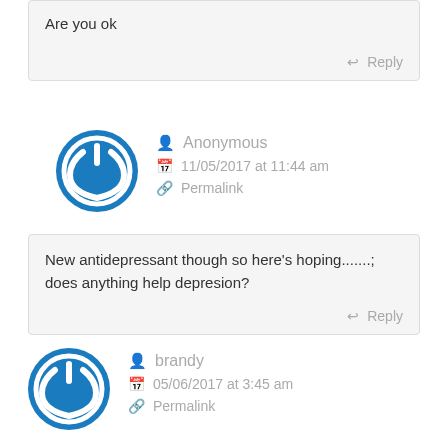Are you ok
Reply
Anonymous
11/05/2017 at 11:44 am
Permalink
New antidepressant though so here's hoping.......;
does anything help depresion?
Reply
brandy
05/06/2017 at 3:45 am
Permalink
If I took to many could I make it look like an accident or would my family know I did it on purpose? I don't want